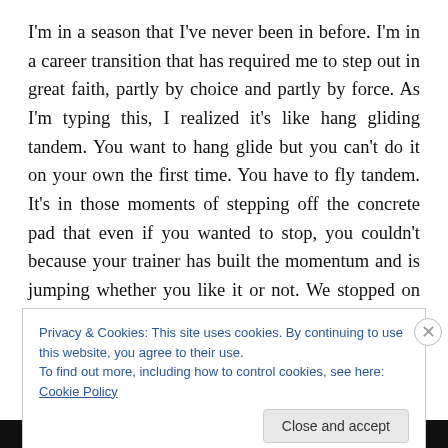I'm in a season that I've never been in before. I'm in a career transition that has required me to step out in great faith, partly by choice and partly by force. As I'm typing this, I realized it's like hang gliding tandem. You want to hang glide but you can't do it on your own the first time. You have to fly tandem. It's in those moments of stepping off the concrete pad that even if you wanted to stop, you couldn't because your trainer has built the momentum and is jumping whether you like it or not. We stopped on top of Lookout Mountain at the flight center on our way home
Privacy & Cookies: This site uses cookies. By continuing to use this website, you agree to their use.
To find out more, including how to control cookies, see here: Cookie Policy